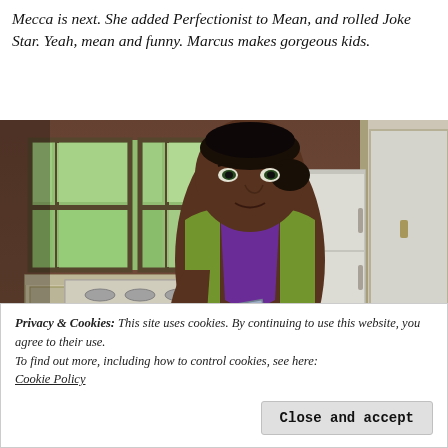Mecca is next.  She added Perfectionist to Mean, and rolled Joke Star.  Yeah, mean and funny.  Marcus makes gorgeous kids.
[Figure (screenshot): Screenshot from The Sims 4 showing a dark-skinned female Sim with black hair pulled back, wearing a green cardigan over a purple top, holding a book. She stands in a kitchen with white appliances and windows looking out to greenery.]
Privacy & Cookies: This site uses cookies. By continuing to use this website, you agree to their use.
To find out more, including how to control cookies, see here: Cookie Policy